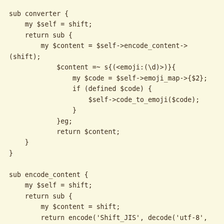sub converter {
    my $self = shift;
    return sub {
        my $content = $self->encode_content->
(shift);
            $content =~ s{(<emoji:(\d>))}{
                my $code = $self->emoji_map->{$2};
                if (defined $code) {
                    $self->code_to_emoji($code);
                }
            }eg;
            return $content;
    }
}

sub encode_content {
    my $self = shift;
    return sub {
        my $content = shift;
        return encode('Shift_JIS', decode('utf-8', $content))
                if is_imode($self->{to});
        return encode('Shift_JIS', decode('utf-8', $content))